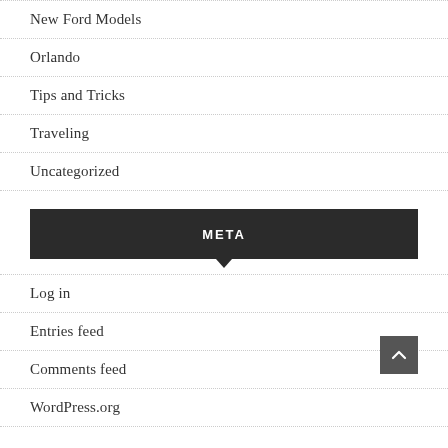New Ford Models
Orlando
Tips and Tricks
Traveling
Uncategorized
META
Log in
Entries feed
Comments feed
WordPress.org